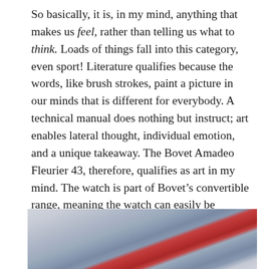So basically, it is, in my mind, anything that makes us feel, rather than telling us what to think. Loads of things fall into this category, even sport! Literature qualifies because the words, like brush strokes, paint a picture in our minds that is different for everybody. A technical manual does nothing but instruct; art enables lateral thought, individual emotion, and a unique takeaway. The Bovet Amadeo Fleurier 43, therefore, qualifies as art in my mind. The watch is part of Bovet’s convertible range, meaning the watch can easily be detached from the wrist strap (which is genuine blue alligator) and turned into a pocket watch, or table clock. A cool touch that adds a little bit of technical interest to something that is otherwise little more than jewelry.
[Figure (photo): Partial photo of a watch with colorful painted dial, showing blue, white and red colors suggesting an artistic design, cropped at the bottom of the page.]